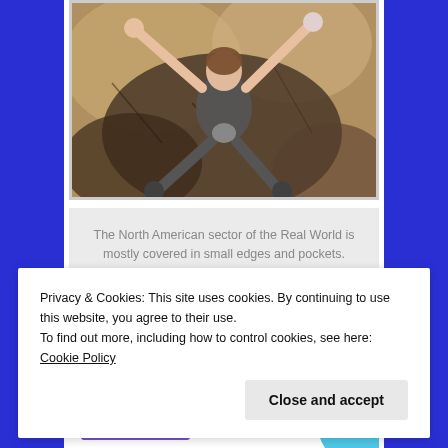[Figure (photo): Rock climber (Fred Gomez) viewed from above, crimping on the bouldering problem Baby Face V7 at Hueco Tanks. The rock face shows tan and dark grey stone textures.]
The North American sector of the Real World is mostly covered in small edges and pockets. Train accordingly! Fred Gomez crimping up the Hueco classic Baby Face, V7
[Figure (screenshot): Advertisement banner partially visible: 'How to start selling subscriptions online' with a purple button labeled 'Start a new store' and a cyan/blue decorative shape on the right.]
Privacy & Cookies: This site uses cookies. By continuing to use this website, you agree to their use.
To find out more, including how to control cookies, see here: Cookie Policy
Close and accept